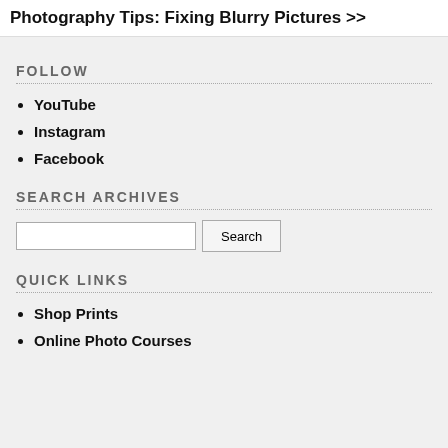Photography Tips: Fixing Blurry Pictures >>
FOLLOW
YouTube
Instagram
Facebook
SEARCH ARCHIVES
QUICK LINKS
Shop Prints
Online Photo Courses